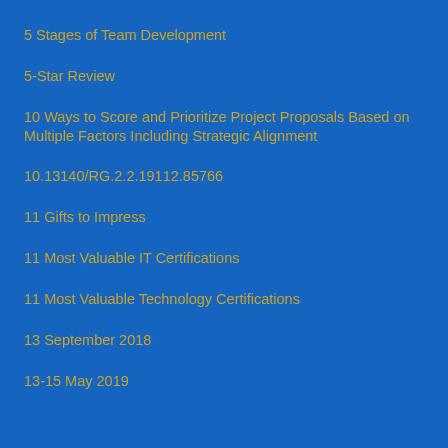5 Stages of Team Development
5-Star Review
10 Ways to Score and Prioritize Project Proposals Based on Multiple Factors Including Strategic Alignment
10.13140/RG.2.2.19112.85766
11 Gifts to Impress
11 Most Valuable IT Certifications
11 Most Valuable Technology Certifications
13 September 2018
13-15 May 2019